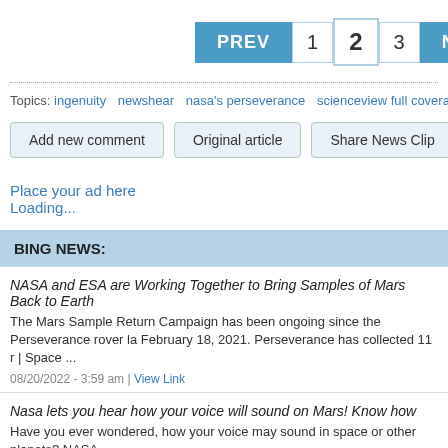PREV 1 2 3 NEXT
Topics: ingenuity  newshear  nasa's perseverance  scienceview full coverage  google news  mars  n
Add new comment
Original article
Share News Clip
Place your ad here
Loading...
BING NEWS:
NASA and ESA are Working Together to Bring Samples of Mars Back to Earth
The Mars Sample Return Campaign has been ongoing since the Perseverance rover la February 18, 2021. Perseverance has collected 11 r | Space ...
08/20/2022 - 3:59 am | View Link
Nasa lets you hear how your voice will sound on Mars! Know how
Have you ever wondered, how your voice may sound in space or other planets? NASA shows what your voice may sound in... They also allow you to...